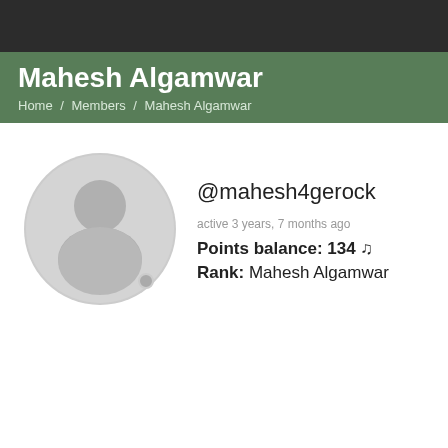Mahesh Algamwar
Home / Members / Mahesh Algamwar
[Figure (illustration): Default user avatar: a grey circle with a silhouette of a person (head and shoulders).]
@mahesh4gerock
active 3 years, 7 months ago
Points balance: 134 ♪
Rank: Mahesh Algamwar